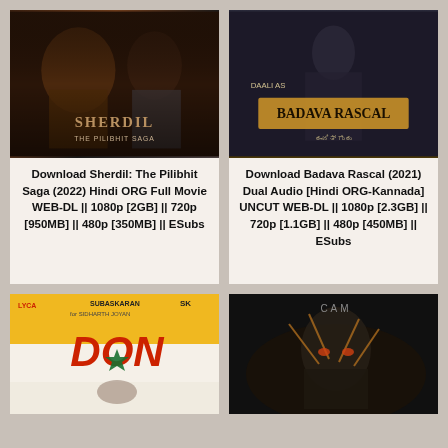[Figure (photo): Movie poster for Sherdil: The Pilibhit Saga (2022) showing elderly man and another face in dark dramatic tones]
Download Sherdil: The Pilibhit Saga (2022) Hindi ORG Full Movie WEB-DL || 1080p [2GB] || 720p [950MB] || 480p [350MB] || ESubs
[Figure (photo): Movie poster for Badava Rascal (2021) showing actor Daali as Badava Rascal in dramatic pose]
Download Badava Rascal (2021) Dual Audio [Hindi ORG-Kannada] UNCUT WEB-DL || 1080p [2.3GB] || 720p [1.1GB] || 480p [450MB] || ESubs
[Figure (photo): Movie poster for Don showing DON title in large red letters on yellow/white background]
[Figure (photo): Movie poster for Cam showing dark horror themed image with figure]